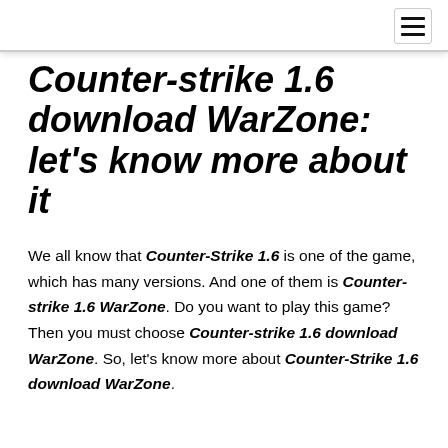Counter-strike 1.6 download WarZone: let's know more about it
We all know that Counter-Strike 1.6 is one of the game, which has many versions. And one of them is Counter-strike 1.6 WarZone. Do you want to play this game? Then you must choose Counter-strike 1.6 download WarZone. So, let's know more about Counter-Strike 1.6 download WarZone.